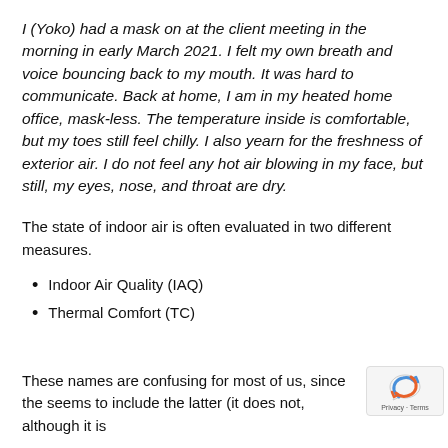I (Yoko) had a mask on at the client meeting in the morning in early March 2021. I felt my own breath and voice bouncing back to my mouth. It was hard to communicate. Back at home, I am in my heated home office, mask-less. The temperature inside is comfortable, but my toes still feel chilly. I also yearn for the freshness of exterior air. I do not feel any hot air blowing in my face, but still, my eyes, nose, and throat are dry.
The state of indoor air is often evaluated in two different measures.
Indoor Air Quality (IAQ)
Thermal Comfort (TC)
These names are confusing for most of us, since the seems to include the latter (it does not, although it is